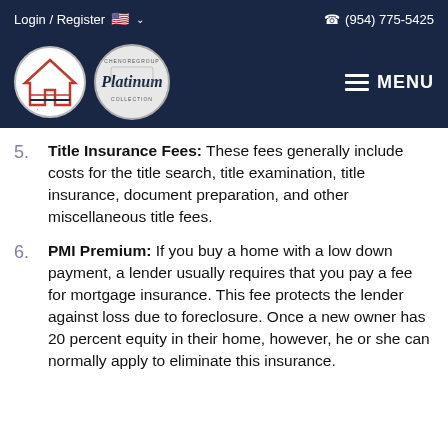Login / Register   🇺🇸 ∨     (954) 775-5425
[Figure (logo): Chenore Group logo bar with two circular logos (chenoregroup.com and Platinum Collection) on a dark navy background, plus a MENU hamburger icon on the right]
5. Title Insurance Fees: These fees generally include costs for the title search, title examination, title insurance, document preparation, and other miscellaneous title fees.
6. PMI Premium: If you buy a home with a low down payment, a lender usually requires that you pay a fee for mortgage insurance. This fee protects the lender against loss due to foreclosure. Once a new owner has 20 percent equity in their home, however, he or she can normally apply to eliminate this insurance.